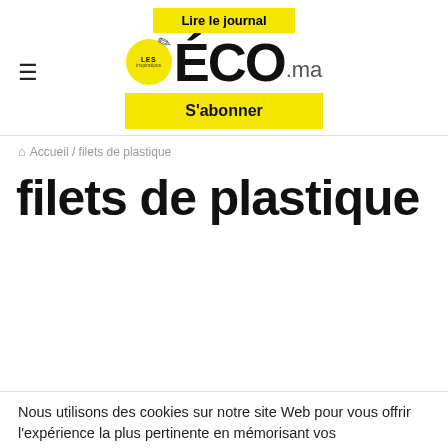[Figure (logo): Les ÉCO.ma website header with yellow 'Lire le journal' button, Les ÉCO.ma logo (yellow circle with LES, large ECO text, .ma suffix), yellow 'S'abonner' button, and hamburger menu icon on the left]
Accueil / filets de plastique
filets de plastique
Nous utilisons des cookies sur notre site Web pour vous offrir l'expérience la plus pertinente en mémorisant vos